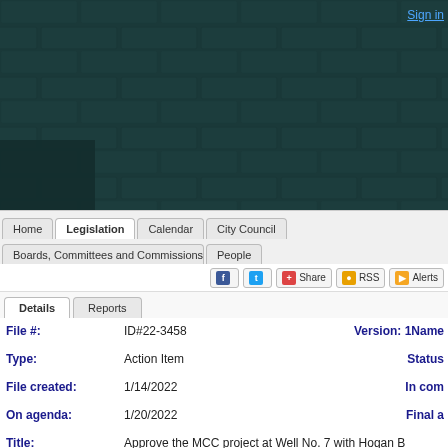[Figure (screenshot): Dark teal hero banner with geometric tile/brick pattern background and a Sign in link in the top right corner]
Sign in
Home | Legislation | Calendar | City Council | Boards, Committees and Commissions | People
Share RSS Alerts (social sharing bar)
Details | Reports (tabs)
| Field | Value | Right |
| --- | --- | --- |
| File #: | ID#22-3458   Version: 1 | Name |
| Type: | Action Item | Status |
| File created: | 1/14/2022 | In com |
| On agenda: | 1/20/2022 | Final a |
| Title: | Approve the MCC project at Well No. 7 with Hogan B $48,000 |  |